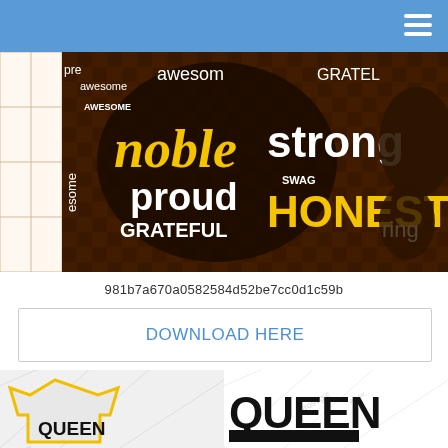[Figure (illustration): Word cloud SVG art with words: noble, proud, strong, HONEST, awesome, GRATEFUL, swag, caring, on a dark brown background]
981b7a670a0582584d52be7cc0d1c59b
DOWNLOAD HERE
81 Free African American Svg Files Black man praying | african american man svg cut file. Compatible with silhouette, cricut and other cutting . Perfect for cricut or silhouette projects to make . Juneteenth words in afro svg · july 4th didn't set me free juneteenth svg · black king african american man svg · words in afro black woman cricut svg · melanin .
[Figure (photo): Two images side by side: left shows a gray t-shirt with yellow border and QUEEN text in black; right shows bold QUEEN text graphic on white background with watermark]